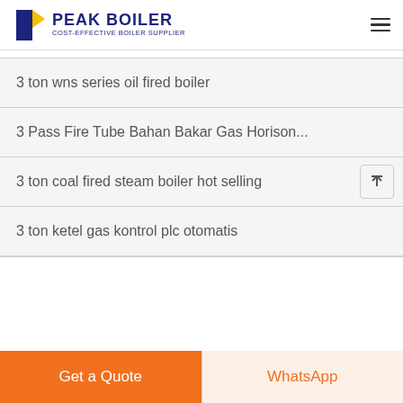PEAK BOILER COST-EFFECTIVE BOILER SUPPLIER
3 ton wns series oil fired boiler
3 Pass Fire Tube Bahan Bakar Gas Horison...
3 ton coal fired steam boiler hot selling
3 ton ketel gas kontrol plc otomatis
Get a Quote
WhatsApp